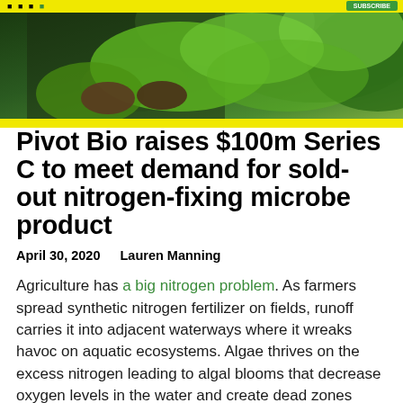[Figure (photo): Photograph of a farmer or agricultural worker holding green plant leaves, outdoors in a field or garden setting]
Pivot Bio raises $100m Series C to meet demand for sold-out nitrogen-fixing microbe product
April 30, 2020   Lauren Manning
Agriculture has a big nitrogen problem. As farmers spread synthetic nitrogen fertilizer on fields, runoff carries it into adjacent waterways where it wreaks havoc on aquatic ecosystems. Algae thrives on the excess nitrogen leading to algal blooms that decrease oxygen levels in the water and create dead zones beneath the surface. A number of